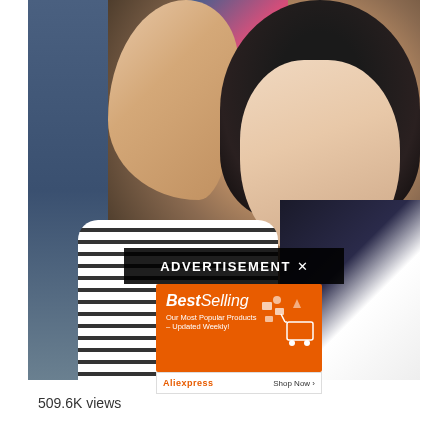[Figure (screenshot): Screenshot of a video page showing a K-pop performer in a striped shirt with black hair and a beret, raising one arm. An advertisement overlay appears over the video with an 'ADVERTISEMENT x' bar and an AliExpress 'Best Selling' banner ad below it.]
509.6K views